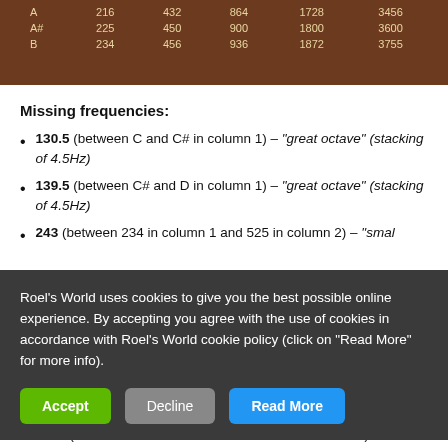[Figure (table-as-image): Brown/sepia toned image showing a table of musical note frequencies. Rows visible: A 216 432 864 1728 3456, A# 225 450 900 1800 3600, B 234 456 936 1872 3755]
Missing frequencies:
130.5 (between C and C# in column 1) – "great octave" (stacking of 4.5Hz)
139.5 (between C# and D in column 1) – "great octave" (stacking of 4.5Hz)
243 (between 234 in column 1 and 525 in column 2) – "small...
Roel's World uses cookies to give you the best possible online experience. By accepting you agree with the use of cookies in accordance with Roel's World cookie policy (click on "Read More" for more info).
1044 (between 1008 in column 4 and 1080 in column 4) –